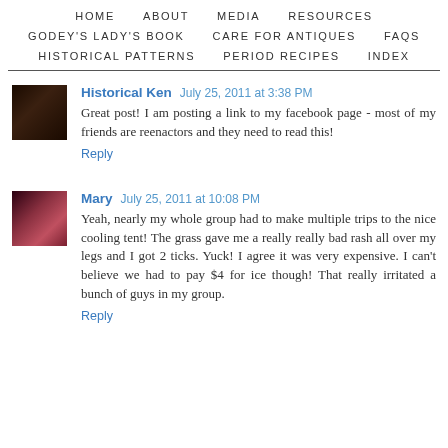HOME   ABOUT   MEDIA   RESOURCES   GODEY'S LADY'S BOOK   CARE FOR ANTIQUES   FAQS   HISTORICAL PATTERNS   PERIOD RECIPES   INDEX
Historical Ken  July 25, 2011 at 3:38 PM
Great post! I am posting a link to my facebook page - most of my friends are reenactors and they need to read this!
Reply
Mary  July 25, 2011 at 10:08 PM
Yeah, nearly my whole group had to make multiple trips to the nice cooling tent! The grass gave me a really really bad rash all over my legs and I got 2 ticks. Yuck! I agree it was very expensive. I can't believe we had to pay $4 for ice though! That really irritated a bunch of guys in my group.
Reply